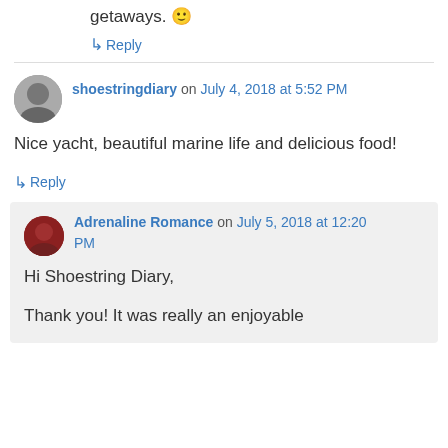getaways. 🙂
↳ Reply
shoestringdiary on July 4, 2018 at 5:52 PM
Nice yacht, beautiful marine life and delicious food!
↳ Reply
Adrenaline Romance on July 5, 2018 at 12:20 PM
Hi Shoestring Diary,
Thank you! It was really an enjoyable